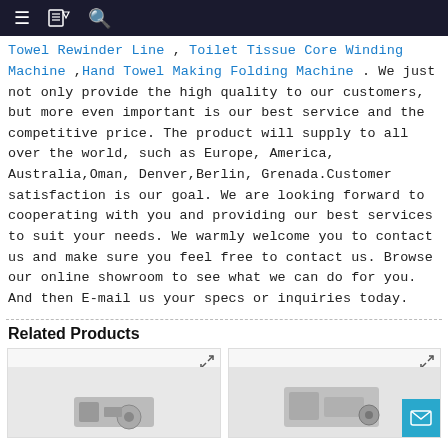Navigation bar with menu, book, and search icons
Towel Rewinder Line , Toilet Tissue Core Winding Machine ,Hand Towel Making Folding Machine . We just not only provide the high quality to our customers, but more even important is our best service and the competitive price. The product will supply to all over the world, such as Europe, America, Australia,Oman, Denver,Berlin, Grenada.Customer satisfaction is our goal. We are looking forward to cooperating with you and providing our best services to suit your needs. We warmly welcome you to contact us and make sure you feel free to contact us. Browse our online showroom to see what we can do for you. And then E-mail us your specs or inquiries today.
Related Products
[Figure (photo): Product image card 1 - machinery product thumbnail with expand icon]
[Figure (photo): Product image card 2 - machinery product thumbnail with expand icon and mail button]